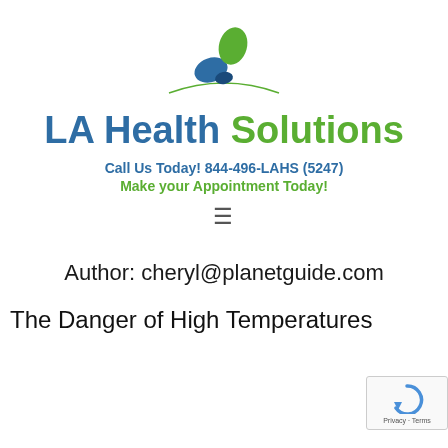[Figure (logo): LA Health Solutions logo with blue and green leaf/oval shapes above an arc line, next to the text LA Health Solutions]
Call Us Today! 844-496-LAHS (5247)
Make your Appointment Today!
≡
Author: cheryl@planetguide.com
The Danger of High Temperatures
[Figure (logo): Google reCAPTCHA badge with Privacy - Terms text]